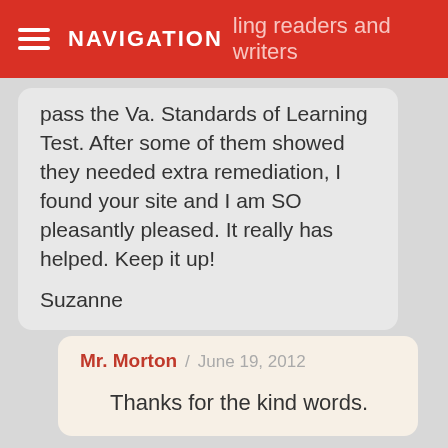NAVIGATION / helping readers and writers
pass the Va. Standards of Learning Test. After some of them showed they needed extra remediation, I found your site and I am SO pleasantly pleased. It really has helped. Keep it up!

Suzanne
Mr. Morton / June 19, 2012

Thanks for the kind words.